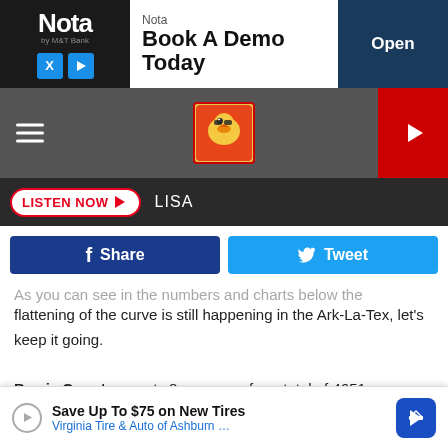[Figure (screenshot): Nota advertisement banner: 'Book A Demo Today' with Open button]
[Figure (logo): Radio station navigation bar with hamburger menu, eagle mascot logo, and red play button]
[Figure (screenshot): Listen Now button with LISA label on dark bar]
[Figure (screenshot): Facebook Share and Twitter Tweet social buttons]
As you can see in the numbers and charts below the flattening of the curve is still happening in the Ark-La-Tex, let's keep it going.
Bowie County reports 8 new case for a total of 4651 cumulative positive COVID-19 cases including 5 probable cases. COVID-related deaths are at 201. Active cases are reported at 439. The total recovered cases for Bowie County is 614
[Figure (screenshot): Bottom advertisement: Save Up To $75 on New Tires - Virginia Tire & Auto of Ashburn]